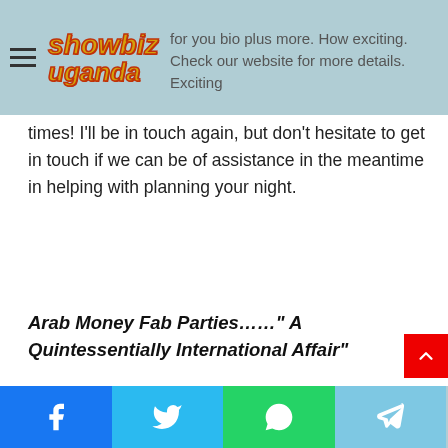showbiz uganda
for you bio plus more. How exciting. Check our website for more details. Exciting times! I'll be in touch again, but don't hesitate to get in touch if we can be of assistance in the meantime in helping with planning your night.
Arab Money Fab Parties……" A Quintessentially International Affair"
[Figure (other): Social sharing icons row: Facebook, Twitter, Email, WhatsApp, Messenger, Telegram, Share]
[Figure (other): Bottom navigation bar with Facebook, Twitter, WhatsApp, Telegram share buttons]